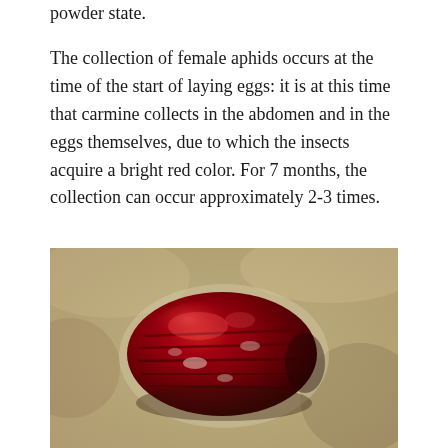powder state.
The collection of female aphids occurs at the time of the start of laying eggs: it is at this time that carmine collects in the abdomen and in the eggs themselves, due to which the insects acquire a bright red color. For 7 months, the collection can occur approximately 2-3 times.
[Figure (photo): Close-up macro photograph of a cochineal insect (female), showing a deep red, oval-shaped segmented body resting on a rough sandy/rocky surface. The insect has a shiny, bumpy texture with visible body segments and appears bright crimson-red in color.]